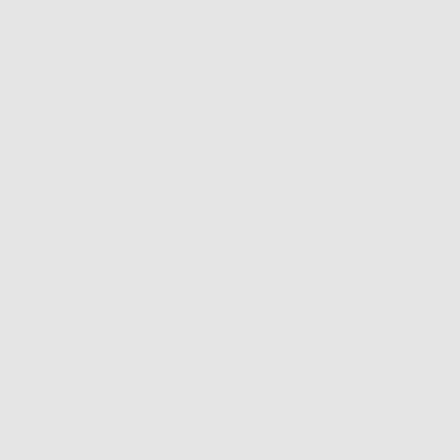+m
Tra
3 m
[Figure (photo): User avatar with dark background showing a wolf/moon silhouette]
Ga
+m
3 m
[Figure (photo): User avatar with red background showing a scary face/character]
le
+F
Ki
lot
3 m
Displaying 1 to 1
Sign i
review